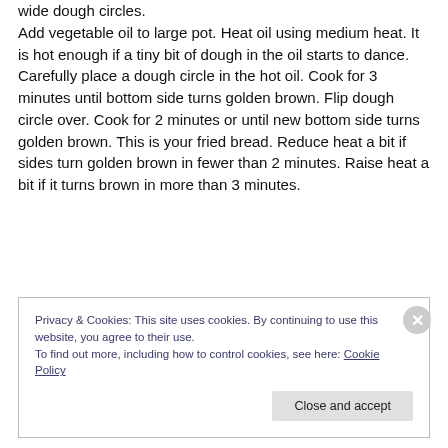wide dough circles.
Add vegetable oil to large pot. Heat oil using medium heat. It is hot enough if a tiny bit of dough in the oil starts to dance. Carefully place a dough circle in the hot oil. Cook for 3 minutes until bottom side turns golden brown. Flip dough circle over. Cook for 2 minutes or until new bottom side turns golden brown. This is your fried bread. Reduce heat a bit if sides turn golden brown in fewer than 2 minutes. Raise heat a bit if it turns brown in more than 3 minutes.
Privacy & Cookies: This site uses cookies. By continuing to use this website, you agree to their use.
To find out more, including how to control cookies, see here: Cookie Policy
Close and accept